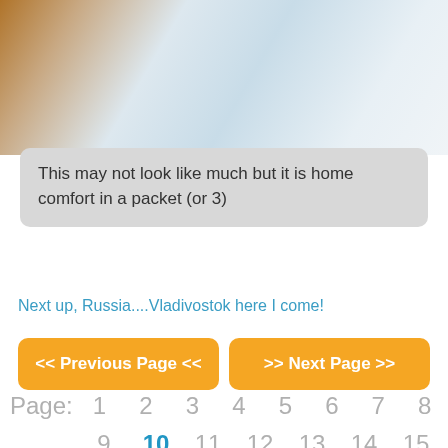[Figure (photo): Photo of bedding/comfort items on a bed with white sheets and brown fabric visible]
This may not look like much but it is home comfort in a packet (or 3)
Next up, Russia....Vladivostok here I come!
<< Previous Page <<  >> Next Page >>
Page: 1 2 3 4 5 6 7 8 9 10 11 12 13 14 15 16 17 18 19 20 21 22 23 24 25 26 27 28 29